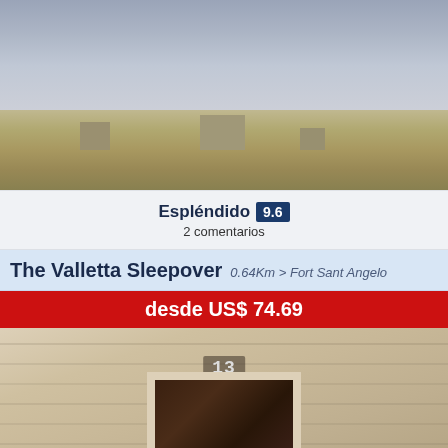[Figure (photo): Panoramic rooftop view of Valletta cityscape with overcast sky]
Espléndido 9.6
2 comentarios
The Valletta Sleepover  0.64Km > Fort Sant Angelo
desde US$ 74.69
[Figure (photo): Stone building facade with dark wooden door numbered 13]